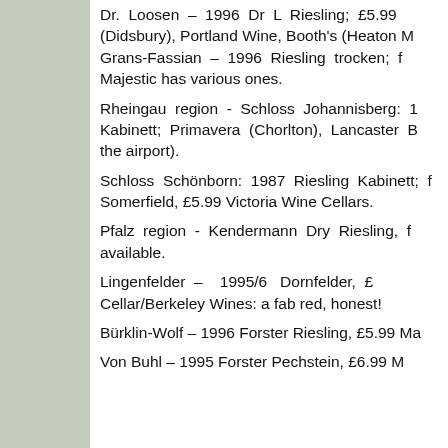Dr. Loosen – 1996 Dr L Riesling; £5.99 (Didsbury), Portland Wine, Booth's (Heaton M Grans-Fassian – 1996 Riesling trocken; f Majestic has various ones.
Rheingau region - Schloss Johannisberg: 1 Kabinett; Primavera (Chorlton), Lancaster B the airport).
Schloss Schönborn: 1987 Riesling Kabinett; f Somerfield, £5.99 Victoria Wine Cellars.
Pfalz region - Kendermann Dry Riesling, f available.
Lingenfelder – 1995/6 Dornfelder, £ Cellar/Berkeley Wines: a fab red, honest!
Bürklin-Wolf – 1996 Forster Riesling, £5.99 Ma
Von Buhl – 1995 Forster Pechstein, £6.99 M